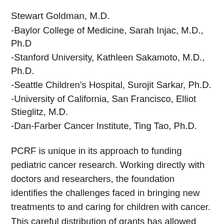Stewart Goldman, M.D.
-Baylor College of Medicine, Sarah Injac, M.D., Ph.D
-Stanford University, Kathleen Sakamoto, M.D., Ph.D.
-Seattle Children’s Hospital, Surojit Sarkar, Ph.D.
-University of California, San Francisco, Elliot Stieglitz, M.D.
-Dan-Farber Cancer Institute, Ting Tao, Ph.D.
PCRF is unique in its approach to funding pediatric cancer research. Working directly with doctors and researchers, the foundation identifies the challenges faced in bringing new treatments to and caring for children with cancer. This careful distribution of grants has allowed these doctors to speed up the process of bringing the latest and most promising treatments to seriously ill children. The result is bringing hope to pediatric cancer patients now and in the future.